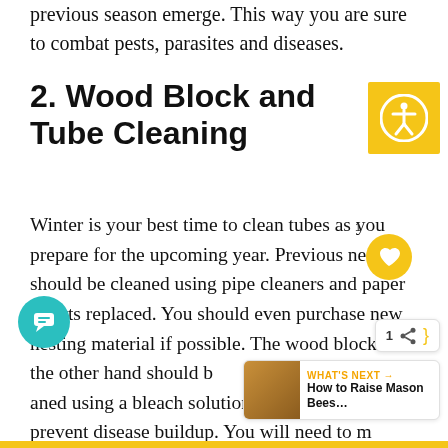previous season emerge. This way you are sure to combat pests, parasites and diseases.
2. Wood Block and Tube Cleaning
Winter is your best time to clean tubes as you prepare for the upcoming year. Previous nests should be cleaned using pipe cleaners and paper inserts replaced. You should even purchase new nesting material if possible. The wood blocks on the other hand should be cleaned using a bleach solution. This will help prevent disease buildup. You will need to mix water and bleach in a ratio of 1 cup bleach against 1 gallon of water. This should be carried out in a well-ventilated area. After